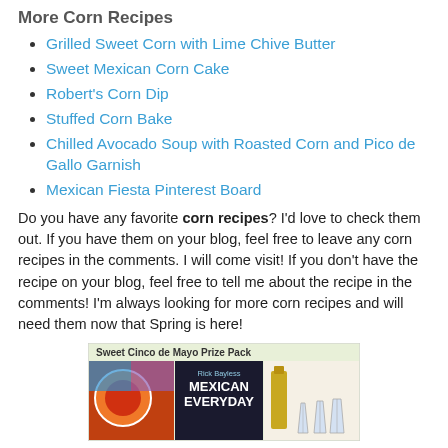More Corn Recipes
Grilled Sweet Corn with Lime Chive Butter
Sweet Mexican Corn Cake
Robert's Corn Dip
Stuffed Corn Bake
Chilled Avocado Soup with Roasted Corn and Pico de Gallo Garnish
Mexican Fiesta Pinterest Board
Do you have any favorite corn recipes? I'd love to check them out. If you have them on your blog, feel free to leave any corn recipes in the comments. I will come visit! If you don't have the recipe on your blog, feel free to tell me about the recipe in the comments! I'm always looking for more corn recipes and will need them now that Spring is here!
[Figure (photo): Sweet Cinco de Mayo Prize Pack promotional image showing a Rick Bayless Mexican Everyday book, a bottle, and margarita glasses]